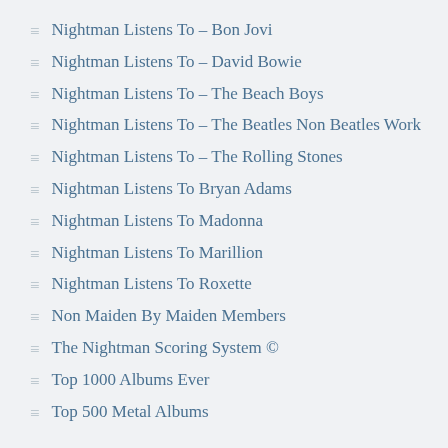Nightman Listens To – Bon Jovi
Nightman Listens To – David Bowie
Nightman Listens To – The Beach Boys
Nightman Listens To – The Beatles Non Beatles Work
Nightman Listens To – The Rolling Stones
Nightman Listens To Bryan Adams
Nightman Listens To Madonna
Nightman Listens To Marillion
Nightman Listens To Roxette
Non Maiden By Maiden Members
The Nightman Scoring System ©
Top 1000 Albums Ever
Top 500 Metal Albums